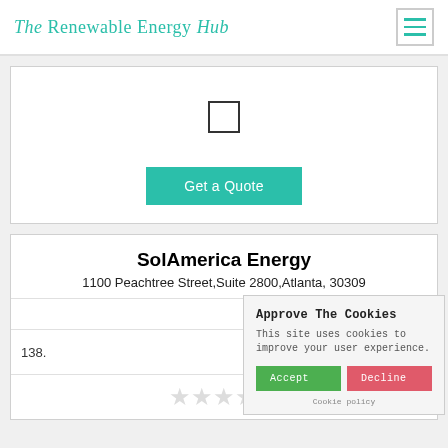The Renewable Energy Hub
[Figure (screenshot): Upper card with checkbox and Get a Quote button]
SolAmerica Energy
1100 Peachtree Street,Suite 2800,Atlanta, 30309
138.
[Figure (screenshot): Cookie consent popup: Approve The Cookies. This site uses cookies to improve your user experience. Accept / Decline buttons. Cookie policy link.]
[Figure (infographic): Star rating: 5 empty/grey stars]